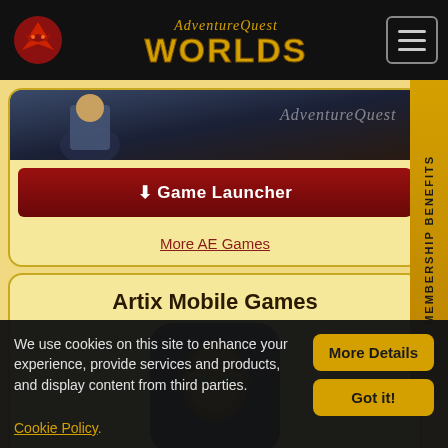AdventureQuest Worlds navigation bar
[Figure (screenshot): Partial game banner image showing an armored character with AdventureQuest watermark text]
Game Launcher
More AE Games
Artix Mobile Games
[Figure (illustration): Artix game icon showing a golden masked character on a dark blue background]
MEMBERSHIP BENEFITS
We use cookies on this site to enhance your experience, provide services and products, and display content from third parties. Cookie Policy.